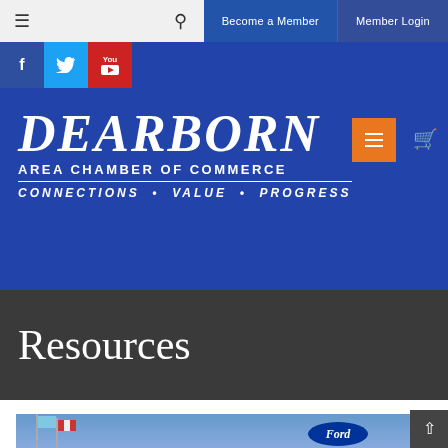Become a Member | Member Login
[Figure (logo): Dearborn Area Chamber of Commerce logo with text: DEARBORN AREA CHAMBER OF COMMERCE CONNECTIONS • VALUE • PROGRESS]
Resources
[Figure (photo): Partial photo showing flags and a Ford dealership sign against a blue sky]